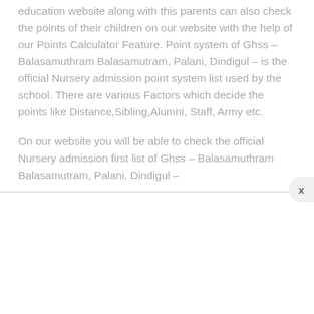education website along with this parents can also check the points of their children on our website with the help of our Points Calculator Feature. Point system of Ghss – Balasamuthram Balasamutram, Palani, Dindigul – is the official Nursery admission point system list used by the school. There are various Factors which decide the points like Distance,Sibling,Alumni, Staff, Army etc.
On our website you will be able to check the official Nursery admission first list of Ghss – Balasamuthram Balasamutram, Palani, Dindigul –